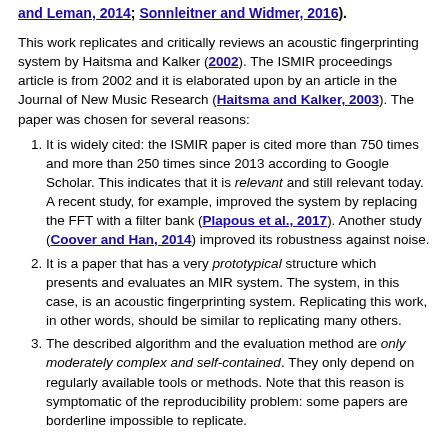and Leman, 2014; Sonnleitner and Widmer, 2016).
This work replicates and critically reviews an acoustic fingerprinting system by Haitsma and Kalker (2002). The ISMIR proceedings article is from 2002 and it is elaborated upon by an article in the Journal of New Music Research (Haitsma and Kalker, 2003). The paper was chosen for several reasons:
1. It is widely cited: the ISMIR paper is cited more than 750 times and more than 250 times since 2013 according to Google Scholar. This indicates that it is relevant and still relevant today. A recent study, for example, improved the system by replacing the FFT with a filter bank (Plapous et al., 2017). Another study (Coover and Han, 2014) improved its robustness against noise.
2. It is a paper that has a very prototypical structure which presents and evaluates an MIR system. The system, in this case, is an acoustic fingerprinting system. Replicating this work, in other words, should be similar to replicating many others.
3. The described algorithm and the evaluation method are only moderately complex and self-contained. They only depend on regularly available tools or methods. Note that this reason is symptomatic of the reproducibility problem: some papers are borderline impossible to replicate.